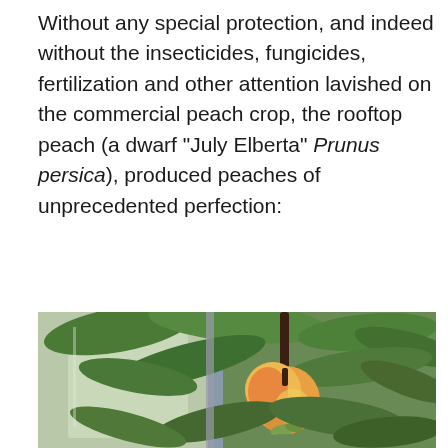Without any special protection, and indeed without the insecticides, fungicides, fertilization and other attention lavished on the commercial peach crop, the rooftop peach (a dwarf "July Elberta" Prunus persica), produced peaches of unprecedented perfection:
[Figure (photo): A close-up photograph of a peach tree branch with green leaves and a single ripe peach (orange-yellow-red coloring) hanging from a dark stem. The background shows a blurred window or glass panel with greenery visible beyond.]